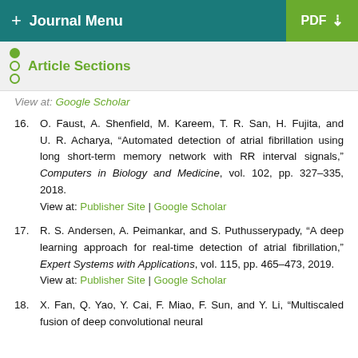+ Journal Menu | PDF
Article Sections
View at: Google Scholar
16. O. Faust, A. Shenfield, M. Kareem, T. R. San, H. Fujita, and U. R. Acharya, “Automated detection of atrial fibrillation using long short-term memory network with RR interval signals,” Computers in Biology and Medicine, vol. 102, pp. 327–335, 2018. View at: Publisher Site | Google Scholar
17. R. S. Andersen, A. Peimankar, and S. Puthusserypady, “A deep learning approach for real-time detection of atrial fibrillation,” Expert Systems with Applications, vol. 115, pp. 465–473, 2019. View at: Publisher Site | Google Scholar
18. X. Fan, Q. Yao, Y. Cai, F. Miao, F. Sun, and Y. Li, “Multiscaled fusion of deep convolutional neural